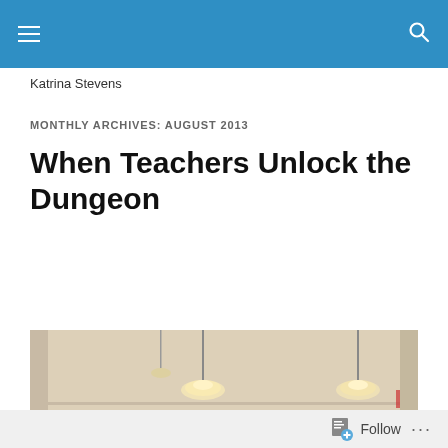Navigation bar with hamburger menu and search icon
Education Matters
Katrina Stevens
MONTHLY ARCHIVES: AUGUST 2013
When Teachers Unlock the Dungeon
[Figure (photo): Interior photo showing hanging chandelier lights in a room with white walls and molding]
Follow ...